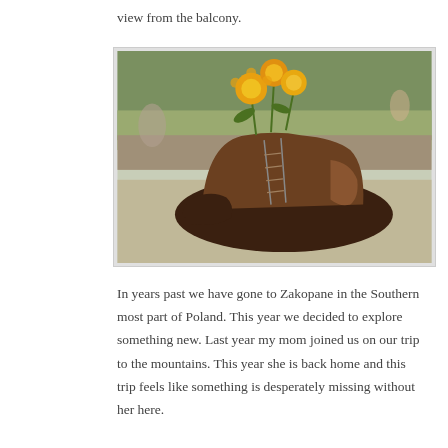view from the balcony.
[Figure (photo): A worn brown leather hiking boot used as a planter, with bright yellow marigold flowers and green foliage growing out of the top. The boot sits on a stone surface with a blurred outdoor background showing stone walls, greenery, and people.]
In years past we have gone to Zakopane in the Southern most part of Poland. This year we decided to explore something new. Last year my mom joined us on our trip to the mountains. This year she is back home and this trip feels like something is desperately missing without her here.